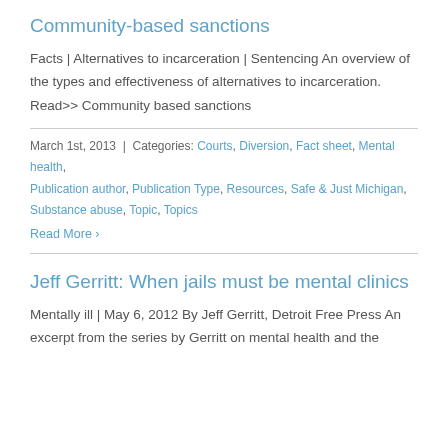Community-based sanctions
Facts | Alternatives to incarceration | Sentencing An overview of the types and effectiveness of alternatives to incarceration. Read>> Community based sanctions
March 1st, 2013  |  Categories: Courts, Diversion, Fact sheet, Mental health, Publication author, Publication Type, Resources, Safe & Just Michigan, Substance abuse, Topic, Topics
Read More >
Jeff Gerritt: When jails must be mental clinics
Mentally ill | May 6, 2012 By Jeff Gerritt, Detroit Free Press An excerpt from the series by Gerritt on mental health and the